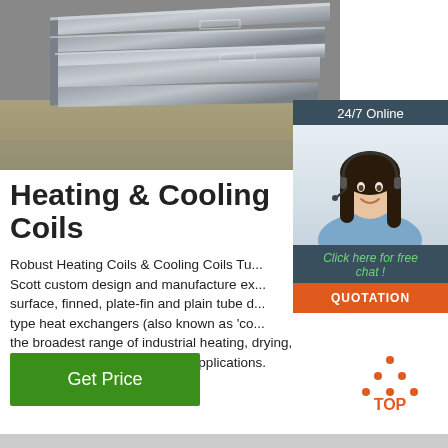[Figure (photo): Stack of flat metal/steel plates or bars photographed close-up, industrial materials]
[Figure (photo): 24/7 Online chat widget with female customer service agent wearing headset, overlay with 'Click here for free chat!' text and orange QUOTATION button]
Heating & Cooling Coils
Robust Heating Coils & Cooling Coils Tu... Scott custom design and manufacture ex... surface, finned, plate-fin and plain tube d... type heat exchangers (also known as 'co... the broadest range of industrial heating, drying, dry cooling and heat recovery applications.
[Figure (logo): TOP icon with orange dots arranged in triangle above orange text 'TOP']
[Figure (other): Green 'Get Price' button]